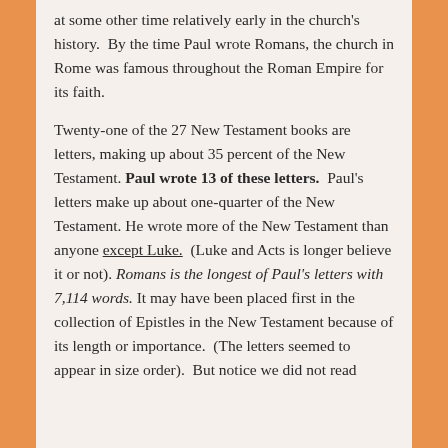at some other time relatively early in the church's history.  By the time Paul wrote Romans, the church in Rome was famous throughout the Roman Empire for its faith.
Twenty-one of the 27 New Testament books are letters, making up about 35 percent of the New Testament. Paul wrote 13 of these letters.  Paul's letters make up about one-quarter of the New Testament. He wrote more of the New Testament than anyone except Luke. (Luke and Acts is longer believe it or not). Romans is the longest of Paul's letters with 7,114 words. It may have been placed first in the collection of Epistles in the New Testament because of its length or importance.  (The letters seemed to appear in size order).  But notice we did not read